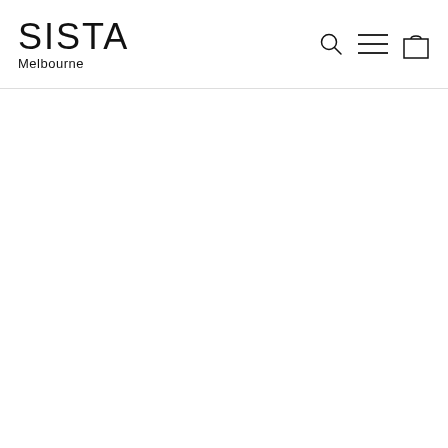[Figure (logo): SISTA Melbourne brand logo with search, menu, and shopping bag icons in the navigation header]